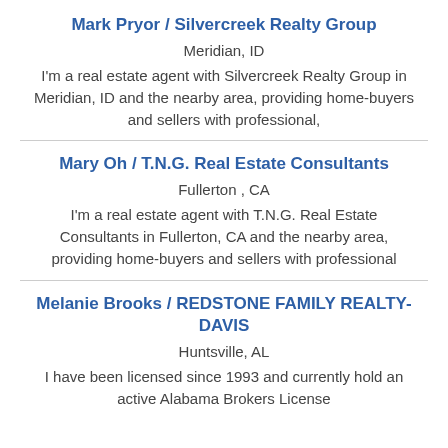Mark Pryor / Silvercreek Realty Group
Meridian, ID
I'm a real estate agent with Silvercreek Realty Group in Meridian, ID and the nearby area, providing home-buyers and sellers with professional,
Mary Oh / T.N.G. Real Estate Consultants
Fullerton , CA
I'm a real estate agent with T.N.G. Real Estate Consultants in Fullerton, CA and the nearby area, providing home-buyers and sellers with professional
Melanie Brooks / REDSTONE FAMILY REALTY-DAVIS
Huntsville, AL
I have been licensed since 1993 and currently hold an active Alabama Brokers License